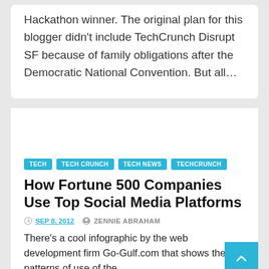Hackathon winner. The original plan for this blogger didn't include TechCrunch Disrupt SF because of family obligations after the Democratic National Convention. But all…
TECH  TECH CRUNCH  TECH NEWS  TECHCRUNCH
How Fortune 500 Companies Use Top Social Media Platforms
SEP 8, 2012   ZENNIE ABRAHAM
There's a cool infographic by the web development firm Go-Gulf.com that shows the patterns of use of the